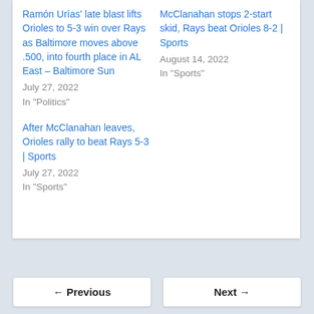Ramón Urías' late blast lifts Orioles to 5-3 win over Rays as Baltimore moves above .500, into fourth place in AL East – Baltimore Sun
July 27, 2022
In "Politics"
After McClanahan leaves, Orioles rally to beat Rays 5-3 | Sports
July 27, 2022
In "Sports"
McClanahan stops 2-start skid, Rays beat Orioles 8-2 | Sports
August 14, 2022
In "Sports"
← Previous    Next →